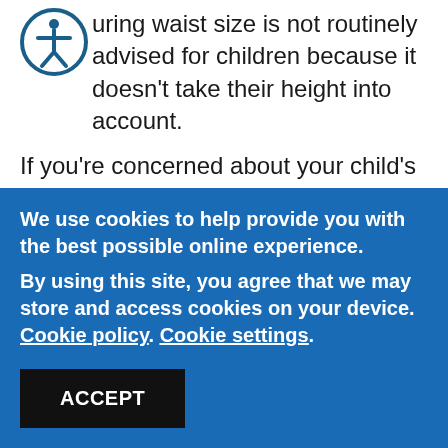Measuring waist size is not routinely advised for children because it doesn't take their height into account.
If you're concerned about your child's weight, contact your GP who may be able to refer you to
We use cookies to help provide you with the best possible online experience.
By using this site, you agree that we may store and access cookies on your device. Cookie policy. Cookie settings.